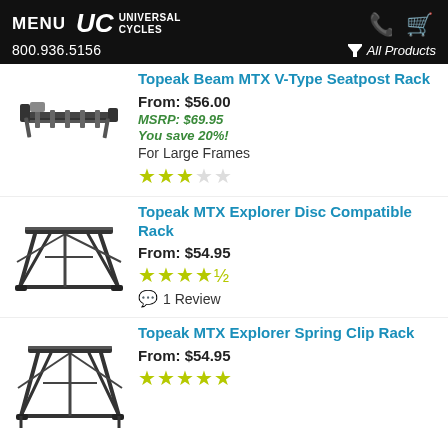MENU | Universal Cycles | 800.936.5156 | All Products
[Figure (photo): Topeak Beam MTX V-Type Seatpost Rack product image]
Topeak Beam MTX V-Type Seatpost Rack
From: $56.00
MSRP: $69.95
You save 20%!
For Large Frames
★★★☆☆
[Figure (photo): Topeak MTX Explorer Disc Compatible Rack product image]
Topeak MTX Explorer Disc Compatible Rack
From: $54.95
★★★★½
1 Review
[Figure (photo): Topeak MTX Explorer Spring Clip Rack product image]
Topeak MTX Explorer Spring Clip Rack
From: $54.95
★★★★★